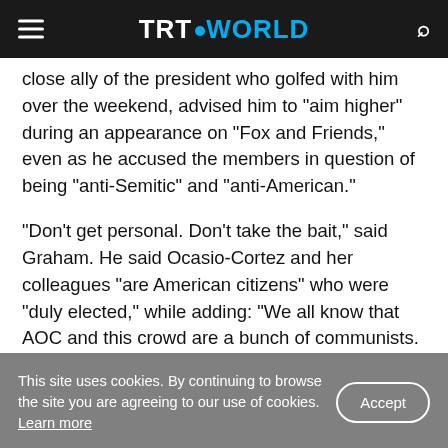TRT WORLD
close ally of the president who golfed with him over the weekend, advised him to "aim higher" during an appearance on "Fox and Friends," even as he accused the members in question of being "anti-Semitic" and "anti-American."
"Don't get personal. Don't take the bait," said Graham. He said Ocasio-Cortez and her colleagues "are American citizens" who were "duly elected," while adding: "We all know that AOC and this crowd are a bunch of communists. They hate Israel. They
This site uses cookies. By continuing to browse the site you are agreeing to our use of cookies. Learn more